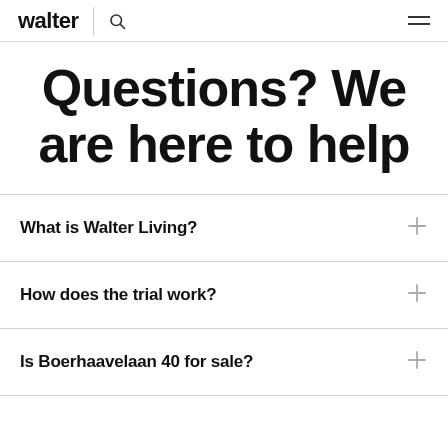walter
Questions? We are here to help
What is Walter Living?
How does the trial work?
Is Boerhaavelaan 40 for sale?